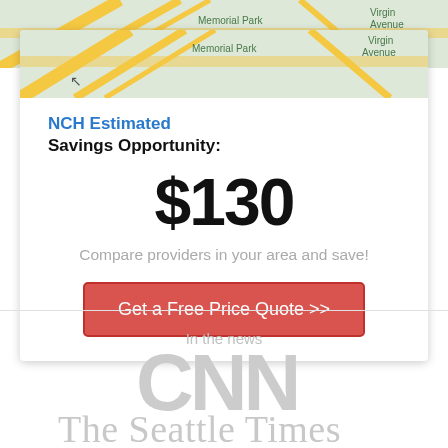[Figure (map): Map thumbnail showing street layout with Memorial Park and Virgin Avenue labels, diagonal yellow roads on green background]
NCH Estimated
Savings Opportunity:
$130
Compare providers in your area and save!
Get a Free Price Quote >>
In the news
[Figure (logo): CNN logo in light gray]
[Figure (logo): The Seattle Times logo in light gray serif font]